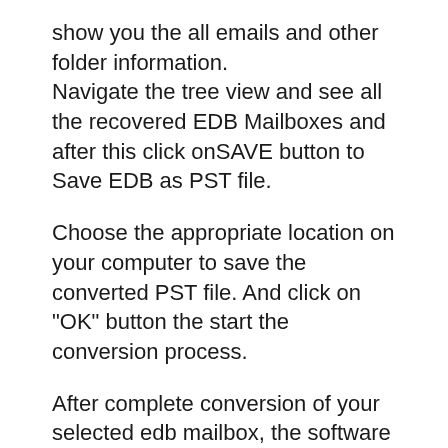show you the all emails and other folder information. Navigate the tree view and see all the recovered EDB Mailboxes and after this click onSAVE button to Save EDB as PST file.
Choose the appropriate location on your computer to save the converted PST file. And click on "OK" button the start the conversion process.
After complete conversion of your selected edb mailbox, the software finally show you the below like dialog message.
Note: Enstella EDB to PST Converter software will allows you to convert single or multiple mailbox conversion at a time.